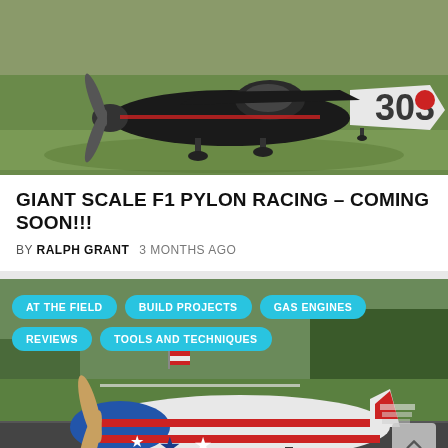[Figure (photo): Black and white racing plane numbered 303 on grass airfield, viewed from the side]
GIANT SCALE F1 PYLON RACING – COMING SOON!!!
BY RALPH GRANT   3 MONTHS AGO
[Figure (photo): Red, white and blue aerobatic RC plane on airfield runway with category tag buttons overlaid: AT THE FIELD, BUILD PROJECTS, GAS ENGINES, REVIEWS, TOOLS AND TECHNIQUES]